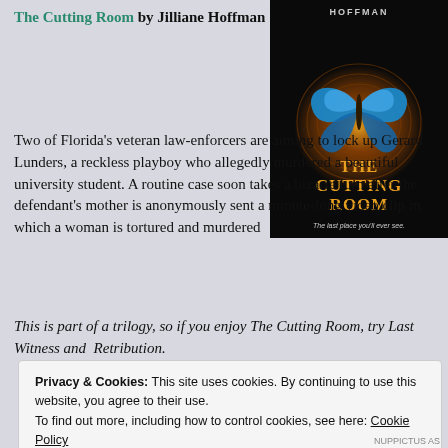The Cutting Room by Jilliane Hoffman
[Figure (photo): Book cover of 'The Cutting Room' by Hoffman, showing a blue butterfly against a dark swirling background with gold text reading 'THE CUTTING ROOM' and subtitle 'The last place you'll ever see.']
Two of Florida's veteran law-enforcers are aiming to lock up Gerard Lunders, a reckless playboy who allegedly murdered a beautiful university student. A routine case soon takes a bizarre turn after the defendant's mother is anonymously sent a minute-long video clip in which a woman is tortured and murdered
This is part of a trilogy, so if you enjoy The Cutting Room, try Last Witness and Retribution.
Privacy & Cookies: This site uses cookies. By continuing to use this website, you agree to their use.
To find out more, including how to control cookies, see here: Cookie Policy